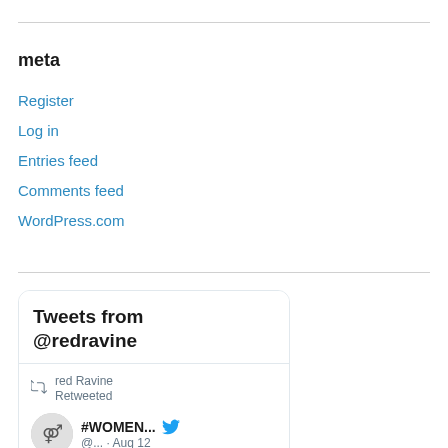meta
Register
Log in
Entries feed
Comments feed
WordPress.com
[Figure (screenshot): Twitter widget showing 'Tweets from @redravine' with a retweeted post from #WOMEN... @... · Aug 12, with text starting 'Sun and Moon' by Barbara]
red Ravine Retweeted
#WOMEN... @... · Aug 12
'Sun and Moon' by Barbara